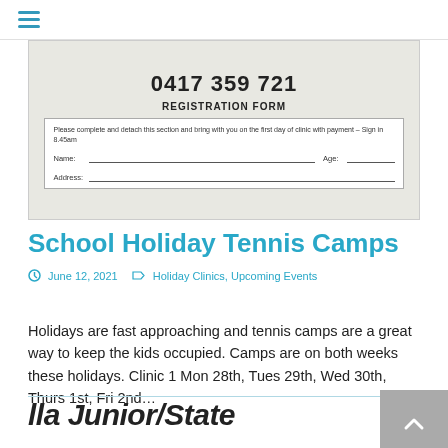Navigation menu icon
[Figure (photo): Registration form image showing phone number 0417 359 721 and a detachable registration form with fields for Name, Age, and Address.]
School Holiday Tennis Camps
June 12, 2021   Holiday Clinics, Upcoming Events
Holidays are fast approaching and tennis camps are a great way to keep the kids occupied. Camps are on both weeks these holidays. Clinic 1 Mon 28th, Tues 29th, Wed 30th, Thurs 1st, Fri 2nd...
lla Junior/State